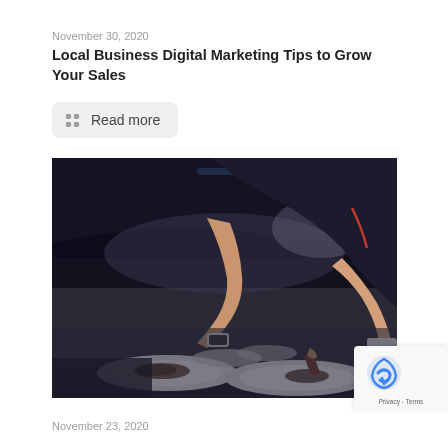November 30, 2020
Local Business Digital Marketing Tips to Grow Your Sales
Read more
[Figure (photo): A chef plating food on white plates in a professional restaurant kitchen. Dark moody lighting with the chef leaning over plates, garnishing dishes.]
November 23, 2020